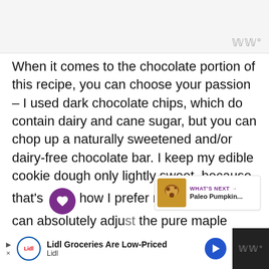When it comes to the chocolate portion of this recipe, you can choose your passion – I used dark chocolate chips, which do contain dairy and cane sugar, but you can chop up a naturally sweetened and/or dairy-free chocolate bar. I keep my edible cookie dough only lightly sweet, because that's how I prefer my treats – you can absolutely adjust the pure maple syrup to your liking! Just note if you add a ton more pure maple syrup, you'll need to add more tapioca flour to compensate for the additional liquid.